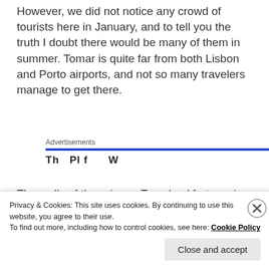However, we did not notice any crowd of tourists here in January, and to tell you the truth I doubt there would be many of them in summer. Tomar is quite far from both Lisbon and Porto airports, and not so many travelers manage to get there.
Advertisements
The walls of the primary Templars' fortress in Portugal look just as monumental now as they did in the 12th century. Had it not been for the construction of the
Privacy & Cookies: This site uses cookies. By continuing to use this website, you agree to their use.
To find out more, including how to control cookies, see here: Cookie Policy
Close and accept